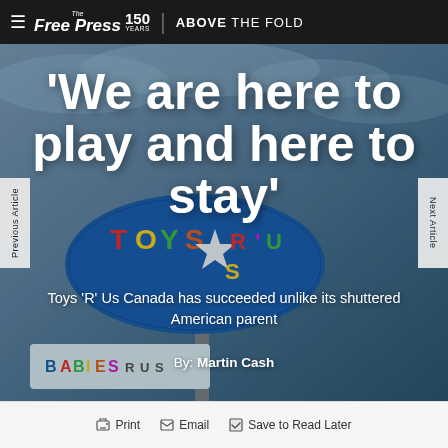≡ The Free Press 150 YEARS | ABOVE THE FOLD
[Figure (photo): Background photo of a Toys R Us sign (blue oval) against a cloudy sky, with a Babies R Us sign partially visible in lower left]
'We are here to play and here to stay'
Toys 'R' Us Canada has succeeded unlike its shuttered American parent
By: Martin Cash
🖨 Print  ✉ Email  ☑ Save to Read Later